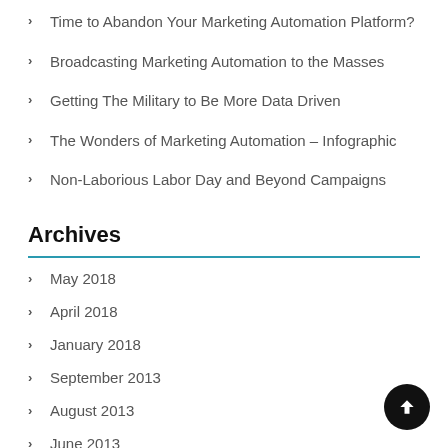Time to Abandon Your Marketing Automation Platform?
Broadcasting Marketing Automation to the Masses
Getting The Military to Be More Data Driven
The Wonders of Marketing Automation – Infographic
Non-Laborious Labor Day and Beyond Campaigns
Archives
May 2018
April 2018
January 2018
September 2013
August 2013
June 2013